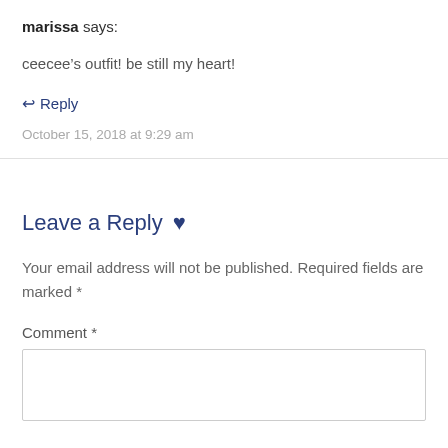marissa says:
ceecee’s outfit! be still my heart!
↩ Reply
October 15, 2018 at 9:29 am
Leave a Reply ♥
Your email address will not be published. Required fields are marked *
Comment *